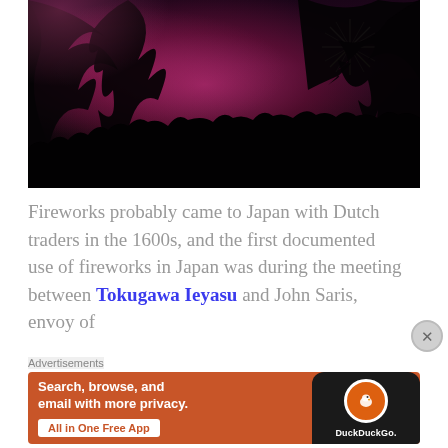[Figure (photo): Night scene with silhouetted trees and crowd against a pink/magenta glowing sky with fireworks bursting on the right side]
Fireworks probably came to Japan with Dutch traders in the 1600s, and the first documented use of fireworks in Japan was during the meeting between Tokugawa Ieyasu and John Saris, envoy of
Advertisements
[Figure (screenshot): DuckDuckGo advertisement: 'Search, browse, and email with more privacy. All in One Free App' with DuckDuckGo logo on dark phone mockup, orange background]